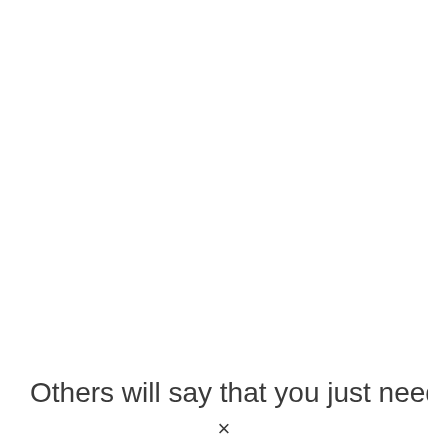Others will say that you just need
×